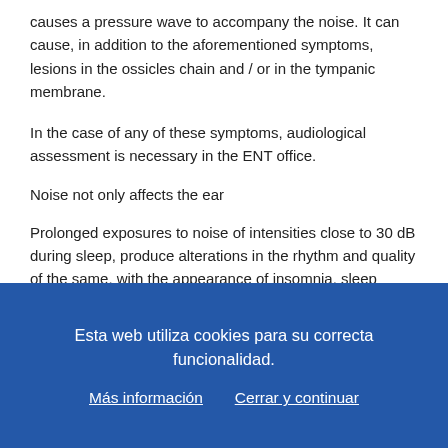causes a pressure wave to accompany the noise. It can cause, in addition to the aforementioned symptoms, lesions in the ossicles chain and / or in the tympanic membrane.
In the case of any of these symptoms, audiological assessment is necessary in the ENT office.
Noise not only affects the ear
Prolonged exposures to noise of intensities close to 30 dB during sleep, produce alterations in the rhythm and quality of the same, with the appearance of insomnia, sleep restructuring, frequent
Esta web utiliza cookies para su correcta funcionalidad.
Más información   Cerrar y continuar